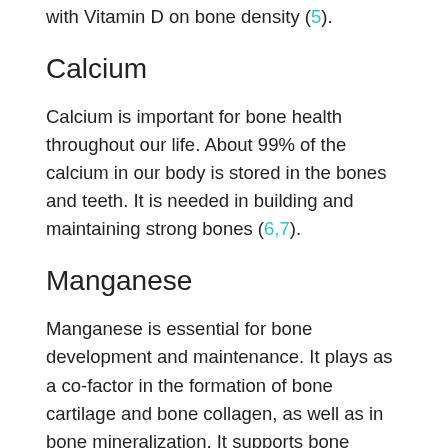with Vitamin D on bone density (5).
Calcium
Calcium is important for bone health throughout our life. About 99% of the calcium in our body is stored in the bones and teeth. It is needed in building and maintaining strong bones (6,7).
Manganese
Manganese is essential for bone development and maintenance. It plays as a co-factor in the formation of bone cartilage and bone collagen, as well as in bone mineralization. It supports bone mineral density when combines with